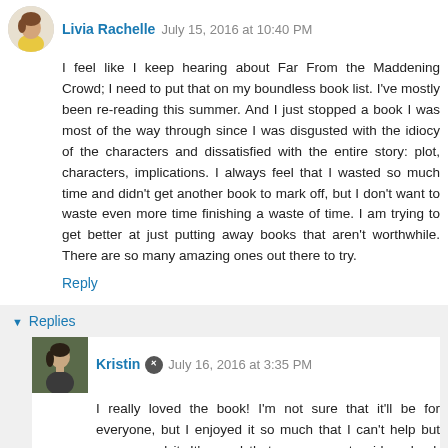Livia Rachelle  July 15, 2016 at 10:40 PM
I feel like I keep hearing about Far From the Maddening Crowd; I need to put that on my boundless book list. I've mostly been re-reading this summer. And I just stopped a book I was most of the way through since I was disgusted with the idiocy of the characters and dissatisfied with the entire story: plot, characters, implications. I always feel that I wasted so much time and didn't get another book to mark off, but I don't want to waste even more time finishing a waste of time. I am trying to get better at just putting away books that aren't worthwhile. There are so many amazing ones out there to try.
Reply
Replies
Kristin  July 16, 2016 at 3:35 PM
I really loved the book! I'm not sure that it'll be for everyone, but I enjoyed it so much that I can't help but recommend it. It's good that you can put aside a book that you feel is a waste of time! I